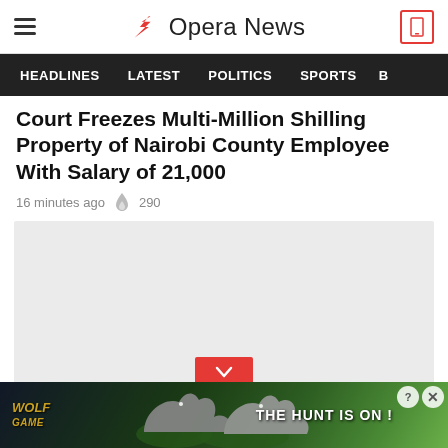Opera News
HEADLINES  LATEST  POLITICS  SPORTS
Court Freezes Multi-Million Shilling Property of Nairobi County Employee With Salary of 21,000
16 minutes ago  🔥 290
[Figure (photo): Gray placeholder image area with a red chevron/down button at the bottom center]
[Figure (photo): Wolf Game advertisement banner with wolves in a meadow, text reading WOLF GAME and THE HUNT IS ON!]